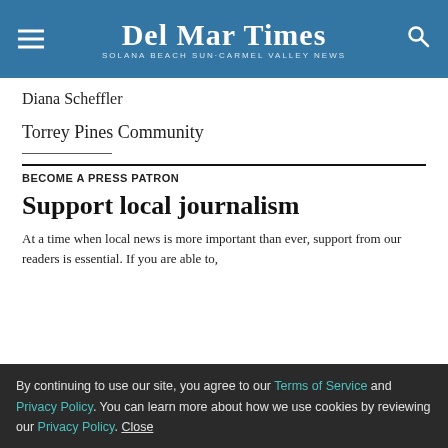Del Mar Times — Solana Beach Sun-Carmel Valley News
Diana Scheffler
Torrey Pines Community
BECOME A PRESS PATRON
Support local journalism
At a time when local news is more important than ever, support from our readers is essential. If you are able to,
By continuing to use our site, you agree to our Terms of Service and Privacy Policy. You can learn more about how we use cookies by reviewing our Privacy Policy. Close